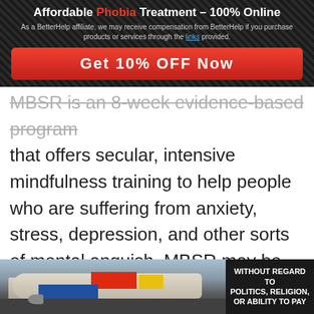Affordable Phobia Treatment – 100% Online
As a BetterHelp affiliate, we may receive compensation from BetterHelp if you purchase products or services through the links provided.
Get 10% OFF Now
MBSR is an 8-week evidence-based program that offers secular, intensive mindfulness training to help people who are suffering from anxiety, stress, depression, and other sorts of mental anguish. MBSR may be able to significantly help someone who is suffering from cnidophobia as mindfulness meditation has been shown to be very beneficial for anxious people. In such a structured program, someone with cnidophobia can expect to learn a plethora of different skills that can help them to relieve
[Figure (photo): Advertisement banner at the bottom showing an airplane being loaded with cargo, with text WITHOUT REGARD TO POLITICS, RELIGION, OR ABILITY TO PAY on the right side]